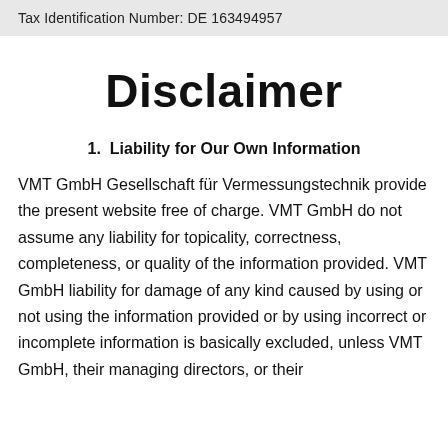Tax Identification Number: DE 163494957
Disclaimer
1.  Liability for Our Own Information
VMT GmbH Gesellschaft für Vermessungstechnik provide the present website free of charge. VMT GmbH do not assume any liability for topicality, correctness, completeness, or quality of the information provided. VMT GmbH liability for damage of any kind caused by using or not using the information provided or by using incorrect or incomplete information is basically excluded, unless VMT GmbH, their managing directors, or their